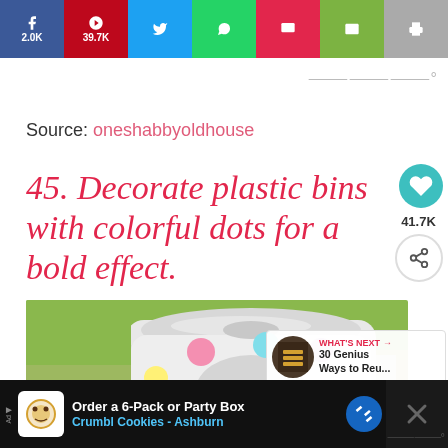[Figure (screenshot): Social media share bar with Facebook (2.0K), Pinterest (39.7K), Twitter, WhatsApp, Flipboard, Email, and Print buttons]
Source: oneshabbyoldhouse
45. Decorate plastic bins with colorful dots for a bold effect.
[Figure (photo): Photo of a white plastic trash bin decorated with colorful polka dots (pink, mint, yellow, purple) sitting on grass]
[Figure (screenshot): WHAT'S NEXT callout: 30 Genius Ways to Reu...]
[Figure (screenshot): Advertisement: Order a 6-Pack or Party Box - Crumbl Cookies - Ashburn]